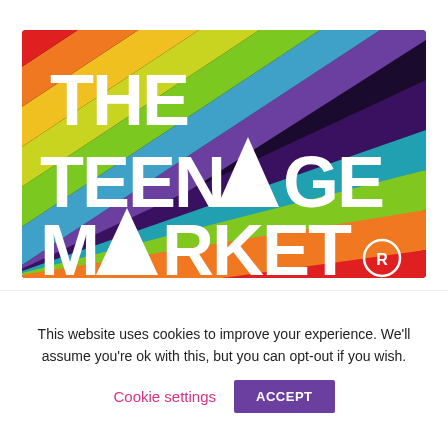[Figure (logo): The Teenage Market logo with colourful diagonal rainbow stripes on dark background, bold white text reading THE TEENAGE MARKET with registered trademark symbol]
Current Projects
News
The Teenage Market
Barnet Teenage Market and Corvid-19
This website uses cookies to improve your experience. We'll assume you're ok with this, but you can opt-out if you wish.
Cookie settings   ACCEPT